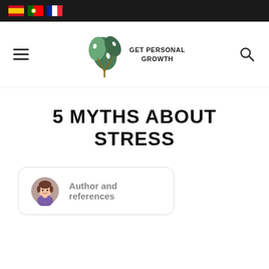Navigation bar with flag icons (Spanish, Portuguese, French), hamburger menu, Get Personal Growth logo, and search icon
5 MYTHS ABOUT STRESS
Author and references